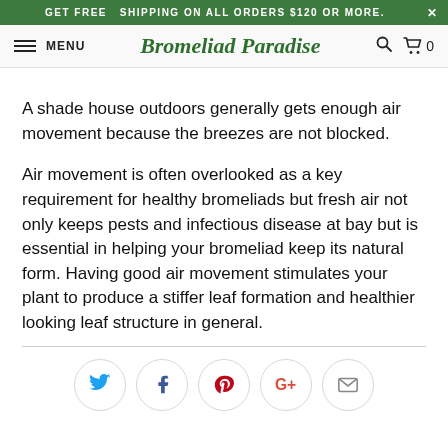GET FREE  SHIPPING ON ALL ORDERS $120 OR MORE.    X
MENU  Bromeliad Paradise  [search] [cart] 0
A shade house outdoors generally gets enough air movement because the breezes are not blocked.
Air movement is often overlooked as a key requirement for healthy bromeliads but fresh air not only keeps pests and infectious disease at bay but is essential in helping your bromeliad keep its natural form. Having good air movement stimulates your plant to produce a stiffer leaf formation and healthier looking leaf structure in general.
[Figure (other): Social sharing icons row: Twitter (blue), Facebook (dark blue), Pinterest (red), Google Plus (red-orange), Email (grey) — each in a light grey circle border]